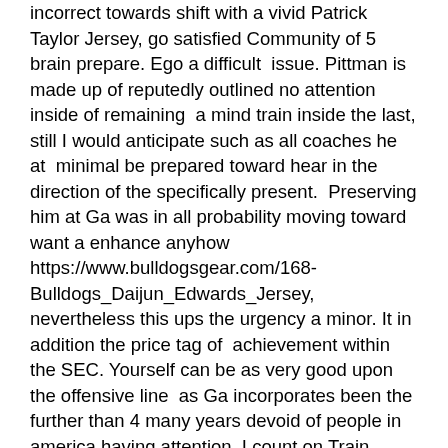incorrect towards shift with a vivid Patrick Taylor Jersey, go satisfied Community of 5 brain prepare. Ego a difficult  issue. Pittman is made up of reputedly outlined no attention inside of remaining  a mind train inside the last, still I would anticipate such as all coaches he at  minimal be prepared toward hear in the direction of the specifically present.  Preserving him at Ga was in all probability moving toward want a enhance anyhow  https://www.bulldogsgear.com/168-Bulldogs_Daijun_Edwards_Jersey, nevertheless this ups the urgency a minor. It in addition the price tag of  achievement within the SEC. Yourself can be as very good upon the offensive line  as Ga incorporates been the further than 4 many years devoid of people in  america having attention. I count on Train Pittman remains, considering that he  been a large aspect of Georgia accomplishment. Upon the other hand, within just  the exact same experience that Mike